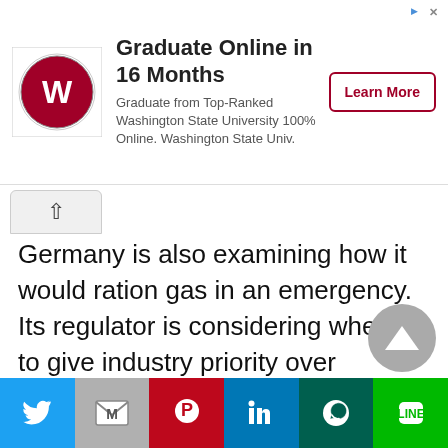[Figure (other): Advertisement banner for Washington State University Graduate Online in 16 Months program with WSU logo, text, and Learn More button]
Germany is also examining how it would ration gas in an emergency. Its regulator is considering whether to give industry priority over households, which would be a reversal of the current policy where businesses would be cut off first.
[Figure (other): Bottom advertisement banner area with ad indicator icons]
[Figure (other): Scroll to top circular button with upward arrow]
[Figure (other): Social share bar with Twitter, Gmail, Pinterest, LinkedIn, WhatsApp, and Line buttons]